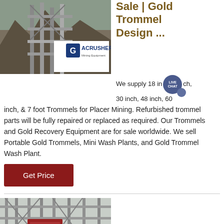[Figure (photo): Industrial mining/crushing equipment with steel structure and conveyor, ACRUSHER Mining Equipment logo overlay]
Sale | Gold Trommel Design ...
We supply 18 inch, 30 inch, 48 inch, 60 inch, & 7 foot Trommels for Placer Mining. Refurbished trommel parts will be fully repaired or replaced as required. Our Trommels and Gold Recovery Equipment are for sale worldwide. We sell Portable Gold Trommels, Mini Wash Plants, and Gold Trommel Wash Plant.
Get Price
[Figure (photo): Industrial steel structure/scaffold building with red machinery visible inside]